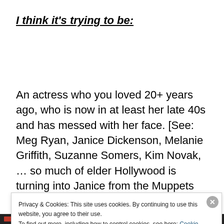I think it's trying to be:
An actress who you loved 20+ years ago, who is now in at least her late 40s and has messed with her face. [See: Meg Ryan, Janice Dickenson, Melanie Griffith, Suzanne Somers, Kim Novak, … so much of elder Hollywood is turning into Janice from the Muppets that I think they must
Privacy & Cookies: This site uses cookies. By continuing to use this website, you agree to their use.
To find out more, including how to control cookies, see here: Cookie Policy
Close and accept